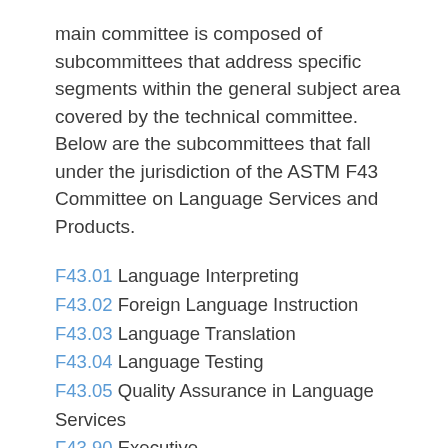main committee is composed of subcommittees that address specific segments within the general subject area covered by the technical committee. Below are the subcommittees that fall under the jurisdiction of the ASTM F43 Committee on Language Services and Products.
F43.01 Language Interpreting
F43.02 Foreign Language Instruction
F43.03 Language Translation
F43.04 Language Testing
F43.05 Quality Assurance in Language Services
F43.90 Executive
F43.91 Terminology
F43.95 ISO/TC 232 Learning Services Outside Formal Education
F43.96 US TAG to ISO/TC 37 Terminology and other language and Content R...